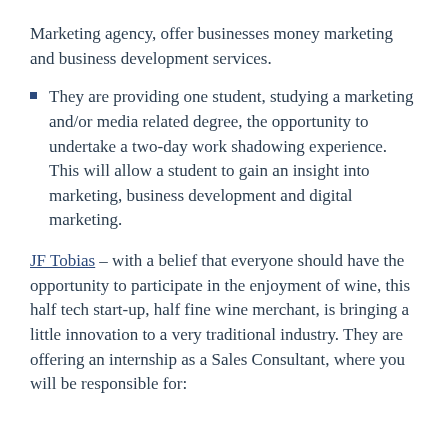Marketing agency, offer businesses money marketing and business development services.
They are providing one student, studying a marketing and/or media related degree, the opportunity to undertake a two-day work shadowing experience. This will allow a student to gain an insight into marketing, business development and digital marketing.
JF Tobias – with a belief that everyone should have the opportunity to participate in the enjoyment of wine, this half tech start-up, half fine wine merchant, is bringing a little innovation to a very traditional industry. They are offering an internship as a Sales Consultant, where you will be responsible for: